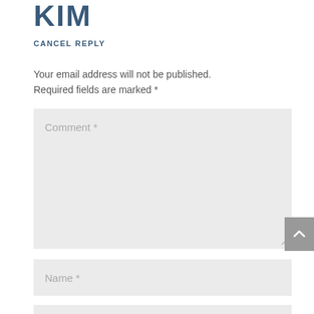KIM
CANCEL REPLY
Your email address will not be published. Required fields are marked *
[Figure (other): Comment text area input field with placeholder text 'Comment *' and resize handle]
[Figure (other): Name input field with placeholder text 'Name *']
[Figure (other): Email input field with placeholder text 'Email *']
[Figure (other): Scroll to top button with upward chevron arrow, gray background]